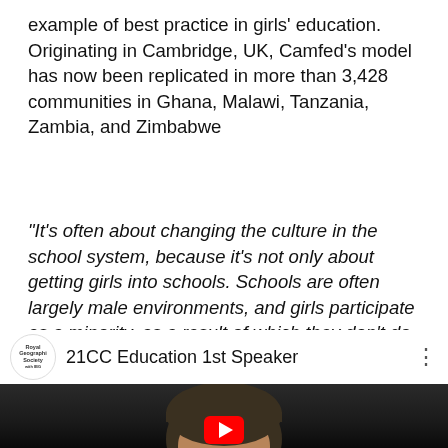example of best practice in girls' education. Originating in Cambridge, UK, Camfed's model has now been replicated in more than 3,428 communities in Ghana, Malawi, Tanzania, Zambia, and Zimbabwe
“It’s often about changing the culture in the school system, because it’s not only about getting girls into schools. Schools are often largely male environments, and girls participate as a minority, as a result of which they don’t do well academically. It’s about saying ‘you are as important as everyone else in the school system’, and the leadership getting behind this idea.” Ann Cotton
[Figure (screenshot): YouTube video thumbnail showing '21CC Education 1st Speaker' with the Royal Geographical Society logo and a partial view of a person's head against a dark background with a YouTube play button visible.]